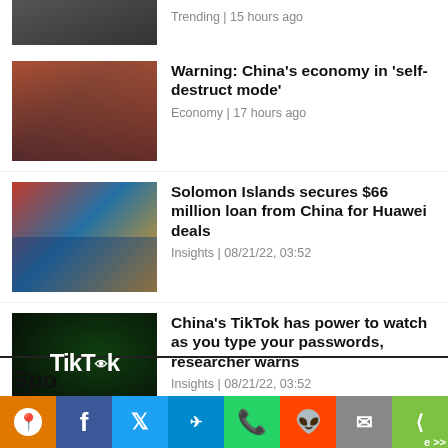[Figure (photo): Partial view of a city skyline with buildings, cut off at top]
Trending | 15 hours ago
[Figure (photo): People wearing masks with stacked boxes, China economy related image]
Warning: China's economy in 'self-destruct mode'
Economy | 17 hours ago
[Figure (photo): Two officials shaking hands in front of flags including China and Solomon Islands flags]
Solomon Islands secures $66 million loan from China for Huawei deals
Insights | 08/21/22, 03:52
[Figure (photo): TikTok logo with eye graphic on dark green/black background with hacker figure]
China's TikTok has power to watch as you type your passwords, researcher warns
Insights | 08/21/22, 03:52
Spo
[Figure (infographic): Social sharing bar with icons: orange pin/location, Facebook, Twitter, Telegram, WhatsApp, Reddit, Mail, Share. Also shows 'e >>' label.]